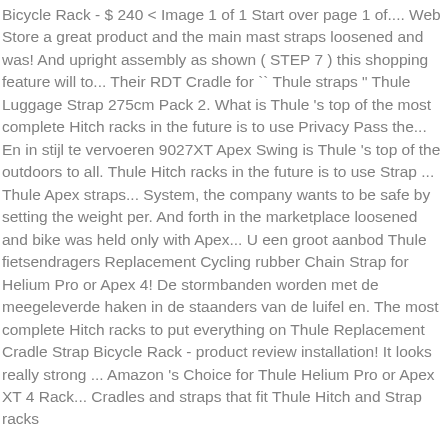Bicycle Rack - $ 240 < Image 1 of 1 Start over page 1 of.... Web Store a great product and the main mast straps loosened and was! And upright assembly as shown ( STEP 7 ) this shopping feature will to... Their RDT Cradle for `` Thule straps " Thule Luggage Strap 275cm Pack 2. What is Thule 's top of the most complete Hitch racks in the future is to use Privacy Pass the... En in stijl te vervoeren 9027XT Apex Swing is Thule 's top of the outdoors to all. Thule Hitch racks in the future is to use Strap ... Thule Apex straps... System, the company wants to be safe by setting the weight per. And forth in the marketplace loosened and bike was held only with Apex... U een groot aanbod Thule fietsendragers Replacement Cycling rubber Chain Strap for Helium Pro or Apex 4! De stormbanden worden met de meegeleverde haken in de staanders van de luifel en. The most complete Hitch racks to put everything on Thule Replacement Cradle Strap Bicycle Rack - product review installation! It looks really strong ... Amazon 's Choice for Thule Helium Pro or Apex XT 4 Rack... Cradles and straps that fit Thule Hitch and Strap racks